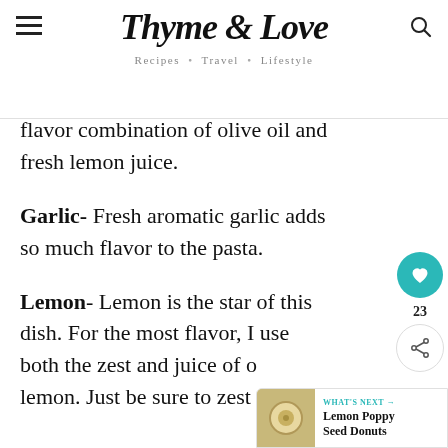Thyme & Love — Recipes • Travel • Lifestyle
flavor combination of olive oil and fresh lemon juice.
Garlic- Fresh aromatic garlic adds so much flavor to the pasta.
Lemon- Lemon is the star of this dish. For the most flavor, I use both the zest and juice of a lemon. Just be sure to zest the